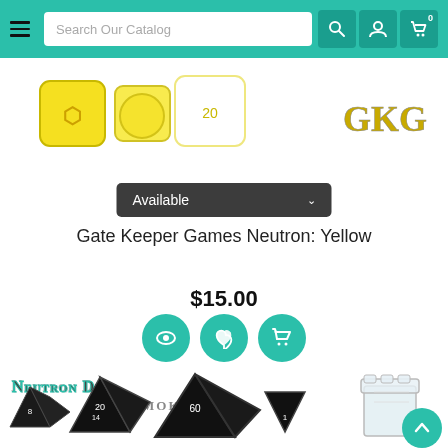Search Our Catalog — navigation bar with hamburger menu, search box, account icon, cart icon (0)
[Figure (photo): Yellow polyhedral dice set with GKG logo on a white background]
Available
Gate Keeper Games Neutron: Yellow
$15.00
[Figure (illustration): Three teal circular action buttons: eye/view, heart/wishlist, shopping cart]
[Figure (photo): Neutron Dice Smoke — black polyhedral dice set with white numbers, shown with clear acrylic storage box. Title reads NEUTRON DICE and SMOKE in stylized font.]